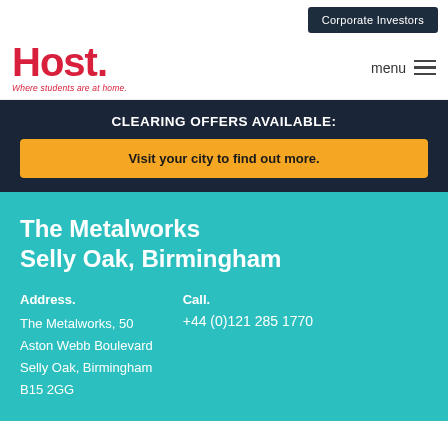Corporate Investors
Host. Where students are at home.
menu
CLEARING OFFERS AVAILABLE:
Visit your city to find out more.
The Metalworks Selly Oak, Birmingham
Address.
The Metalworks, 50 Aston Webb Boulevard Selly Oak, Birmingham B15 2GG
Call.
+44 (0)121 285 1770